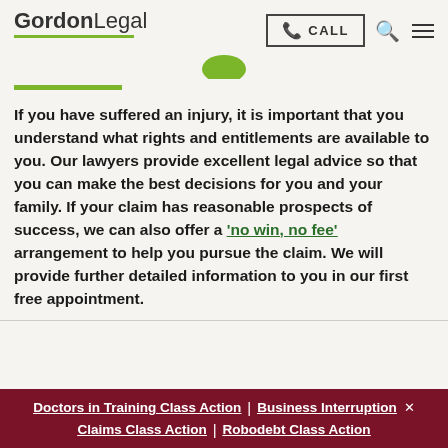GordonLegal — CALL
[Figure (logo): GordonLegal logo with green underline and partial green icon above]
If you have suffered an injury, it is important that you understand what rights and entitlements are available to you. Our lawyers provide excellent legal advice so that you can make the best decisions for you and your family. If your claim has reasonable prospects of success, we can also offer a 'no win, no fee' arrangement to help you pursue the claim. We will provide further detailed information to you in our first free appointment.
Doctors in Training Class Action | Business Interruption Claims Class Action | Robodebt Class Action